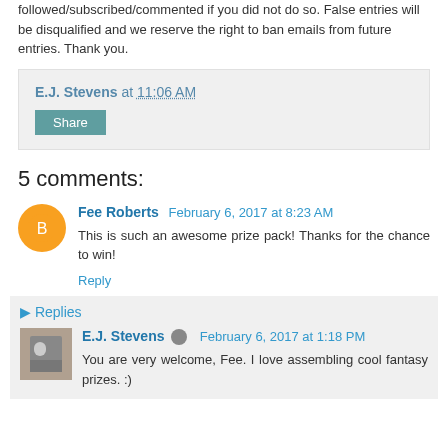followed/subscribed/commented if you did not do so. False entries will be disqualified and we reserve the right to ban emails from future entries. Thank you.
E.J. Stevens at 11:06 AM
Share
5 comments:
Fee Roberts  February 6, 2017 at 8:23 AM
This is such an awesome prize pack! Thanks for the chance to win!
Reply
Replies
E.J. Stevens  February 6, 2017 at 1:18 PM
You are very welcome, Fee. I love assembling cool fantasy prizes. :)